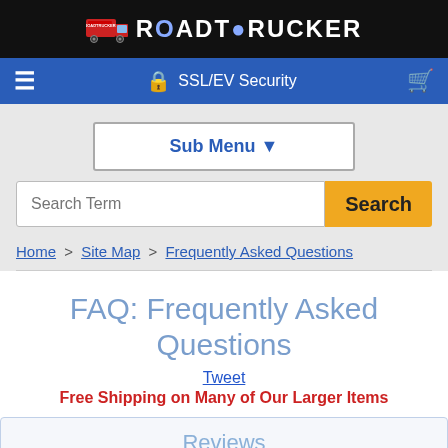RoadTrucker
SSL/EV Security
Sub Menu ▼
Search Term  Search
Home > Site Map > Frequently Asked Questions
FAQ: Frequently Asked Questions
Tweet
Free Shipping on Many of Our Larger Items
Reviews
5/ 5